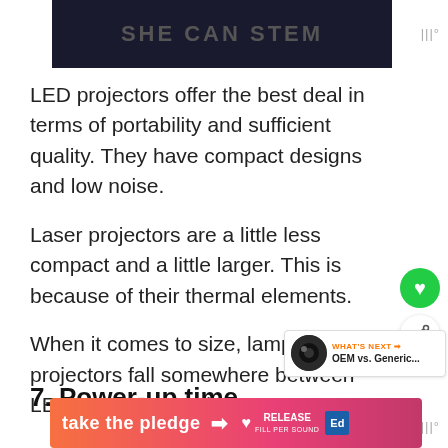[Figure (screenshot): Dark banner with 'SHE CAN STEM' text in gray uppercase letters on dark background]
LED projectors offer the best deal in terms of portability and sufficient quality. They have compact designs and low noise.
Laser projectors are a little less compact and a little larger. This is because of their thermal elements.
When it comes to size, lamp projectors fall somewhere between LED and Laser projectors
7. Power-up time
[Figure (infographic): Orange-to-pink gradient ad banner reading 'take the pledge →' with Release logo and Ed logo]